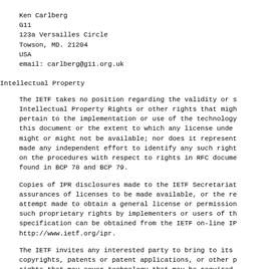Ken Carlberg
G11
123a Versailles Circle
Towson, MD. 21204
USA
email: carlberg@g11.org.uk
Intellectual Property
The IETF takes no position regarding the validity or s
Intellectual Property Rights or other rights that migh
pertain to the implementation or use of the technology
this document or the extent to which any license unde
might or might not be available; nor does it represent
made any independent effort to identify any such right
on the procedures with respect to rights in RFC docume
found in BCP 78 and BCP 79.
Copies of IPR disclosures made to the IETF Secretariat
assurances of licenses to be made available, or the re
attempt made to obtain a general license or permission
such proprietary rights by implementers or users of th
specification can be obtained from the IETF on-line IP
http://www.ietf.org/ipr.
The IETF invites any interested party to bring to its
copyrights, patents or patent applications, or other p
rights that may cover technology that may be required
this standard. Please address the information to the